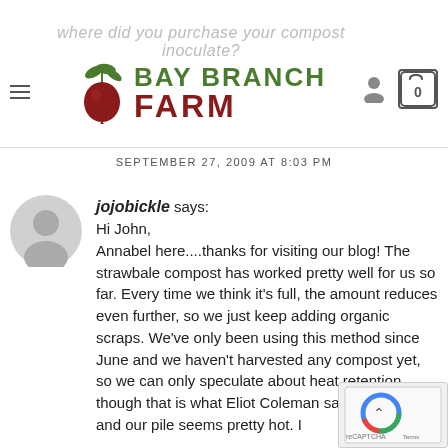BAY BRANCH FARM
SEPTEMBER 27, 2009 AT 8:03 PM
jojobickle says:
Hi John,
Annabel here....thanks for visiting our blog! The strawbale compost has worked pretty well for us so far. Every time we think it’s full, the amount reduces even further, so we just keep adding organic scraps. We’ve only been using this method since June and we haven’t harvested any compost yet, so we can only speculate about heat retention, though that is what Eliot Coleman says happens and our pile seems pretty hot. I